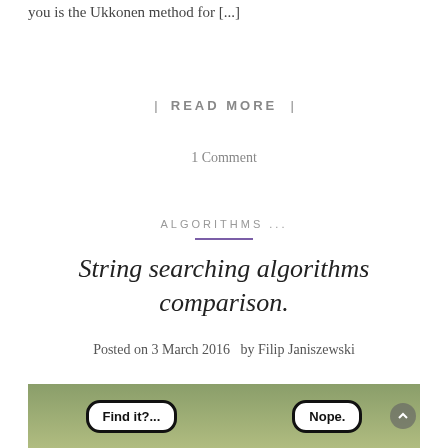you is the Ukkonen method for [...]
| READ MORE |
1 Comment
ALGORITHMS ...
String searching algorithms comparison.
Posted on 3 March 2016  by Filip Janiszewski
[Figure (photo): A humorous image showing two speech bubbles: 'Find it?...' and 'Nope.' against an outdoor background with a fence.]